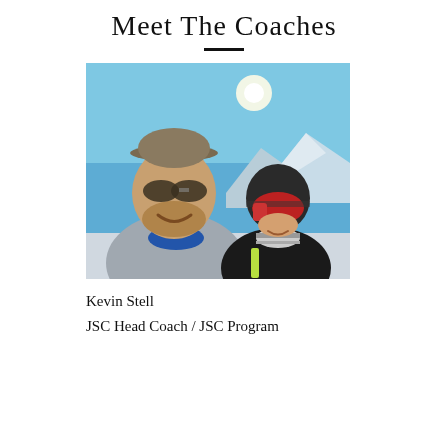Meet The Coaches
[Figure (photo): Selfie photo of two people outdoors in a skiing environment. The man on the left wears a grey jacket, sunglasses, and a baseball cap. The person on the right wears a ski helmet, ski goggles, a black and yellow jacket, and a striped neck gaiter. Blue sky and snowy mountains in the background.]
Kevin Stell
JSC Head Coach / JSC Program